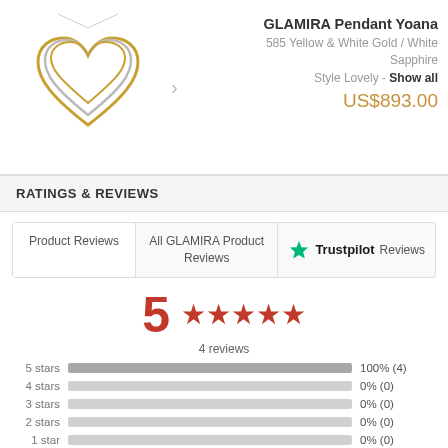[Figure (photo): Heart-shaped pendant necklace in yellow and white gold with white sapphire stones]
GLAMIRA Pendant Yoana
585 Yellow & White Gold / White Sapphire
Style Lovely - Show all
US$893.00
RATINGS & REVIEWS
Product Reviews
All GLAMIRA Product Reviews
Trustpilot Reviews
5  ★★★★★
4 reviews
| Rating | Bar | Percentage |
| --- | --- | --- |
| 5 stars |  | 100% (4) |
| 4 stars |  | 0% (0) |
| 3 stars |  | 0% (0) |
| 2 stars |  | 0% (0) |
| 1 star |  | 0% (0) |